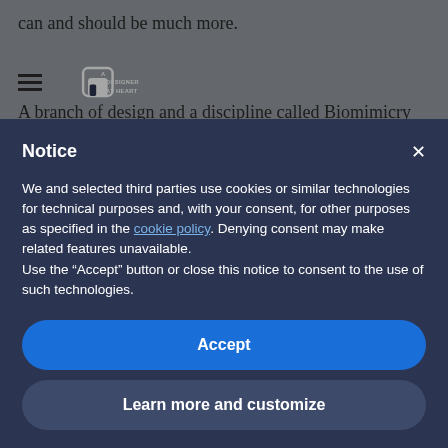can and should be much more.
A branch of design and a discipline called Biomimicry (whose concept also extends in other industries), is dedicated to this very task. Emulating natural elements and systems like patterns to improve our life,
[Figure (logo): A Designer At Heart logo — white lock/capsule icon with text 'A DESIGNER AT HEART']
Notice
We and selected third parties use cookies or similar technologies for technical purposes and, with your consent, for other purposes as specified in the cookie policy. Denying consent may make related features unavailable.
Use the “Accept” button or close this notice to consent to the use of such technologies.
Accept
Learn more and customize